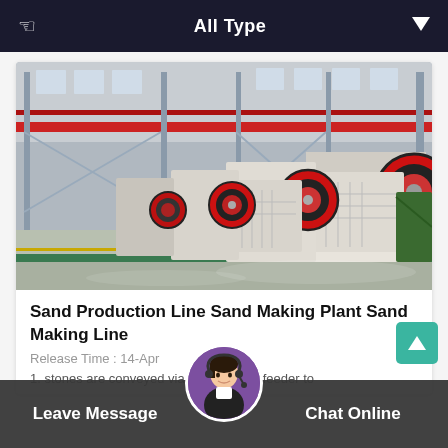All Type
[Figure (photo): Factory floor photo showing a row of large industrial jaw crusher machines with red and black flywheel components, inside a large manufacturing plant with overhead cranes and metal framework structure.]
Sand Production Line Sand Making Plant Sand Making Line
Release Time : 14-Apr
1. stones are conveyed via the vibrating feeder to